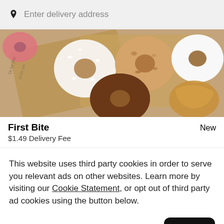Enter delivery address
[Figure (photo): Overhead photo of assorted donuts on wooden boards — powdered sugar, glazed, chocolate, crumb-topped, and frosted varieties]
First Bite
New
$1.49 Delivery Fee
This website uses third party cookies in order to serve you relevant ads on other websites. Learn more by visiting our Cookie Statement, or opt out of third party ad cookies using the button below.
Opt out
Got it